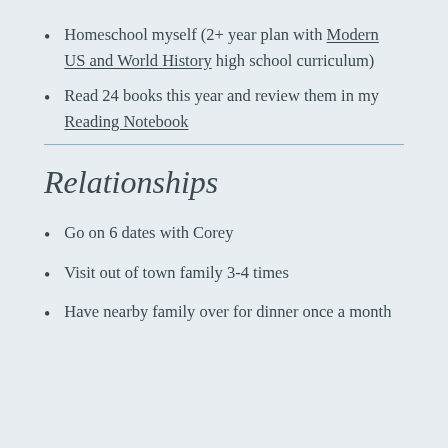Homeschool myself (2+ year plan with Modern US and World History high school curriculum)
Read 24 books this year and review them in my Reading Notebook
Relationships
Go on 6 dates with Corey
Visit out of town family 3-4 times
Have nearby family over for dinner once a month